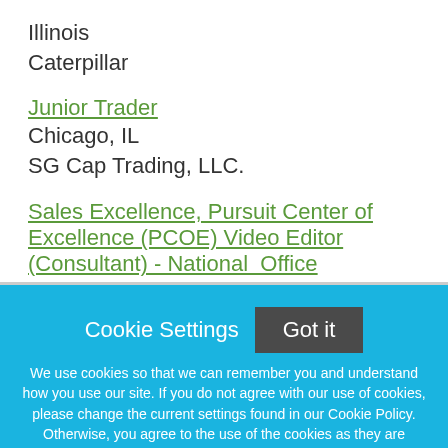Illinois
Caterpillar
Junior Trader
Chicago, IL
SG Cap Trading, LLC.
Sales Excellence, Pursuit Center of Excellence (PCOE) Video Editor (Consultant) - National  Office
Darien, IL
Deloitte
Cookie Settings
Got it
We use cookies so that we can remember you and understand how you use our site. If you do not agree with our use of cookies, please change the current settings found in our Cookie Policy. Otherwise, you agree to the use of the cookies as they are currently set.